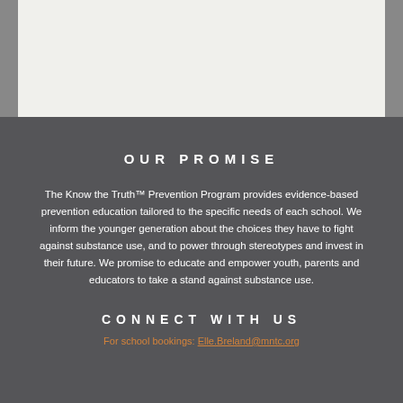[Figure (other): Light gray background image area at top of page with dark side bars]
OUR PROMISE
The Know the Truth™ Prevention Program provides evidence-based prevention education tailored to the specific needs of each school. We inform the younger generation about the choices they have to fight against substance use, and to power through stereotypes and invest in their future. We promise to educate and empower youth, parents and educators to take a stand against substance use.
CONNECT WITH US
For school bookings: Elle.Breland@mntc.org